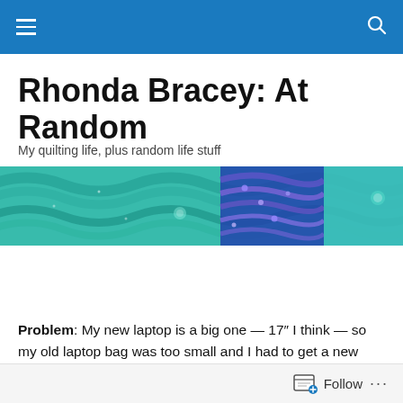Navigation bar with hamburger menu and search icon
Rhonda Bracey: At Random
My quilting life, plus random life stuff
[Figure (photo): A decorative quilted fabric banner with teal, green, and blue wave patterns, and a purple section with circular motifs.]
Quilted laptop bag
Problem: My new laptop is a big one — 17" I think — so my old laptop bag was too small and I had to get a new one. It's like a mini-suitcase so is quite bulky and heavy. The old laptop bag was in random colours which...
Follow ...